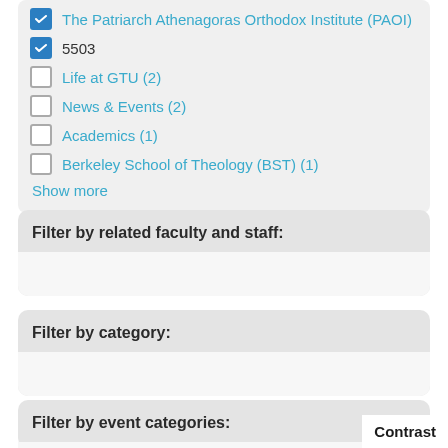The Patriarch Athenagoras Orthodox Institute (PAOI) [checked]
5503 [checked]
Life at GTU (2) [unchecked]
News & Events (2) [unchecked]
Academics (1) [unchecked]
Berkeley School of Theology (BST) (1) [unchecked]
Show more
Filter by related faculty and staff:
Filter by category:
Filter by event categories:
Contrast